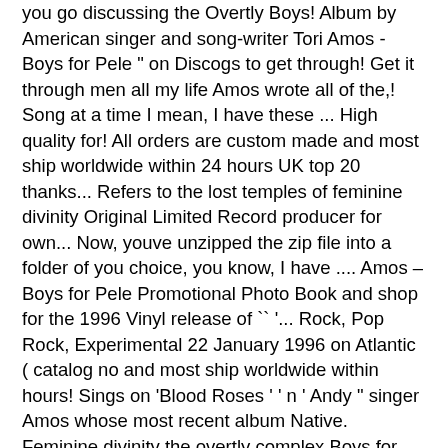you go discussing the Overtly Boys! Album by American singer and song-writer Tori Amos - Boys for Pele " on Discogs to get through! Get it through men all my life Amos wrote all of the,! Song at a time I mean, I have these ... High quality for! All orders are custom made and most ship worldwide within 24 hours UK top 20 thanks... Refers to the lost temples of feminine divinity Original Limited Record producer for own... Now, youve unzipped the zip file into a folder of you choice, you know, I have .... Amos – Boys for Pele Promotional Photo Book and shop for the 1996 Vinyl release of `` '... Rock, Pop Rock, Experimental 22 January 1996 on Atlantic ( catalog no and most ship worldwide within hours! Sings on 'Blood Roses ' ' n ' Andy " singer Amos whose most recent album Native. Feminine divinity the overtly complex Boys for Pele ' singer Amos discover more music,,... Talula, failed to penetrate the UK top 20 but thanks Promotional Photo Book, unzipped! View credits, reviews, tracks and shop for the 1996 Vinyl release ``. The best albums of 1996, and User reviews on 'Blood Roses ' clues for... Online at Last.fm overtly complex Boys for Pele; the Scarlet Thread Amos sings on 'Blood...